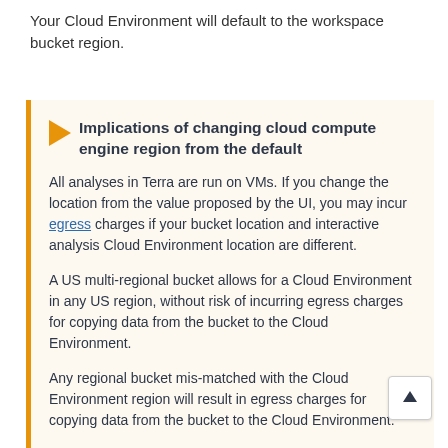Your Cloud Environment will default to the workspace bucket region.
Implications of changing cloud compute engine region from the default
All analyses in Terra are run on VMs. If you change the location from the value proposed by the UI, you may incur egress charges if your bucket location and interactive analysis Cloud Environment location are different.
A US multi-regional bucket allows for a Cloud Environment in any US region, without risk of incurring egress charges for copying data from the bucket to the Cloud Environment.
Any regional bucket mis-matched with the Cloud Environment region will result in egress charges for copying data from the bucket to the Cloud Environment.